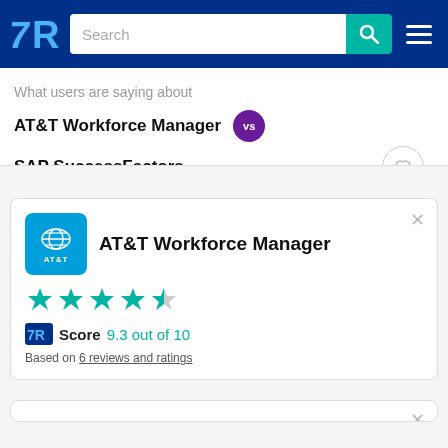TrustRadius - Search
What users are saying about
AT&T Workforce Manager vs SAP SuccessFactors
[Figure (infographic): AT&T Workforce Manager product card with star rating and TR Score of 9.3 out of 10, based on 6 reviews and ratings]
[Figure (infographic): Second product card (partially visible, clipped at bottom)]